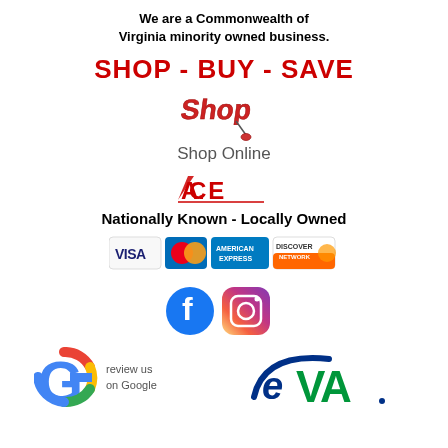We are a Commonwealth of Virginia minority owned business.
SHOP - BUY - SAVE
[Figure (logo): Shop logo with shopping mouse cursor graphic]
Shop Online
[Figure (logo): ACE Hardware logo]
Nationally Known - Locally Owned
[Figure (infographic): Payment method logos: VISA, MasterCard, American Express, Discover Network]
[Figure (logo): Facebook and Instagram social media logos]
[Figure (logo): Google Review us on Google logo and eVA logo]